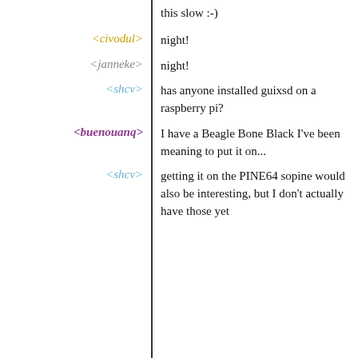this slow :-)
<civodul> night!
<janneke> night!
<shcv> has anyone installed guixsd on a raspberry pi?
<buenouanq> I have a Beagle Bone Black I've been meaning to put it on...
<shcv> getting it on the PINE64 sopine would also be interesting, but I don't actually have those yet